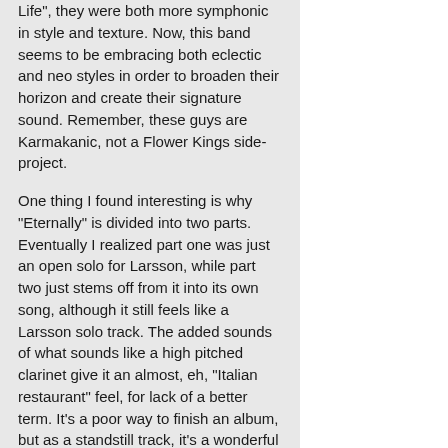Life", they were both more symphonic in style and texture. Now, this band seems to be embracing both eclectic and neo styles in order to broaden their horizon and create their signature sound. Remember, these guys are Karmakanic, not a Flower Kings side-project.
One thing I found interesting is why "Eternally" is divided into two parts. Eventually I realized part one was just an open solo for Larsson, while part two just stems off from it into its own song, although it still feels like a Larsson solo track. The added sounds of what sounds like a high pitched clarinet give it an almost, eh, "Italian restaurant" feel, for lack of a better term. It's a poor way to finish an album, but as a standstill track, it's a wonderful ballad of sorts.
It's truly a fantastic album, the defining piece of music for this band's repetoir. This album has clearly defined their sound with their mix of symphonic elements, to their dabbling of eclectic